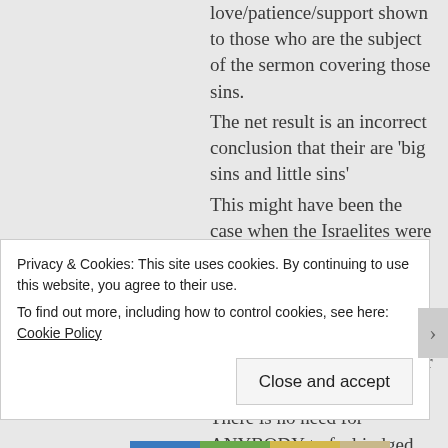love/patience/support shown to those who are the subject of the sermon covering those sins.
The net result is an incorrect conclusion that their are 'big sins and little sins'
This might have been the case when the Israelites were judged by the law, but under grace, ALL sins are covered by the blood of the Lamb who once and for all time made the perfect sacrifice for sin.
There is no need for ANYBODY to feel judged by
Privacy & Cookies: This site uses cookies. By continuing to use this website, you agree to their use.
To find out more, including how to control cookies, see here: Cookie Policy